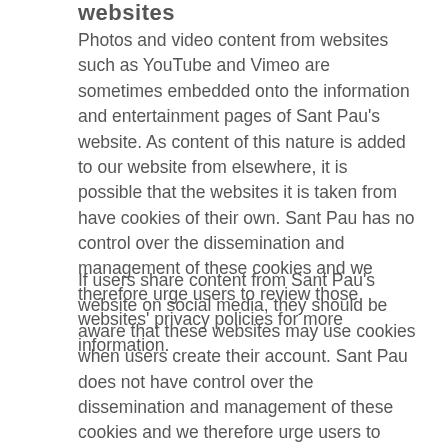websites
Photos and video content from websites such as YouTube and Vimeo are sometimes embedded onto the information and entertainment pages of Sant Pau's website. As content of this nature is added to our website from elsewhere, it is possible that the websites it is taken from have cookies of their own. Sant Pau has no control over the dissemination and management of these cookies and we therefore urge users to review those websites' privacy policies for more information.
If users share content from Sant Pau's website on social media, they should be aware that these websites may use cookies when users create their account. Sant Pau does not have control over the dissemination and management of these cookies and we therefore urge users to consult these